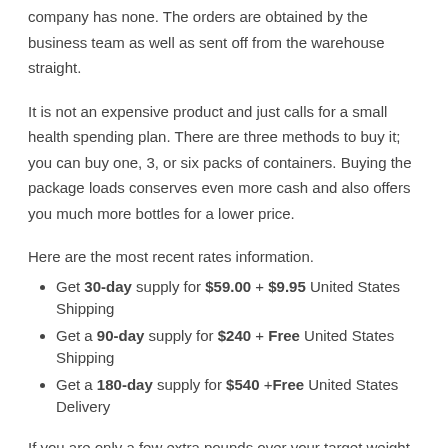company has none. The orders are obtained by the business team as well as sent off from the warehouse straight.
It is not an expensive product and just calls for a small health spending plan. There are three methods to buy it; you can buy one, 3, or six packs of containers. Buying the package loads conserves even more cash and also offers you much more bottles for a lower price.
Here are the most recent rates information.
Get 30-day supply for $59.00 + $9.95 United States Shipping
Get a 90-day supply for $240 + Free United States Shipping
Get a 180-day supply for $540 +Free United States Delivery
If you are only a few extra pounds over your target weight, using